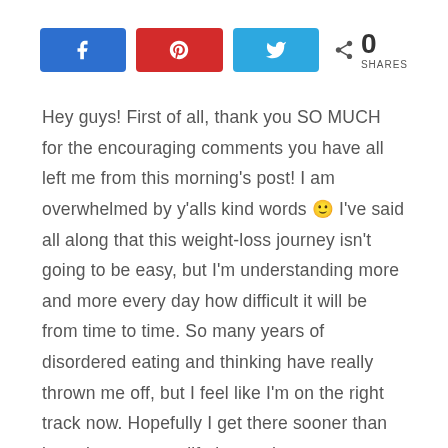[Figure (infographic): Social media share buttons: Facebook (blue), Pinterest (red), Twitter (blue), and a share count showing 0 SHARES]
Hey guys!  First of all, thank you SO MUCH for the encouraging comments you have all left me from this morning's post!  I am overwhelmed by y'alls kind words 🙂  I've said all along that this weight-loss journey isn't going to be easy, but I'm understanding more and more every day how difficult it will be from time to time.  So many years of disordered eating and thinking have really thrown me off, but I feel like I'm on the right track now.  Hopefully I get there sooner than later, because my life is too short to worry about this stuff.